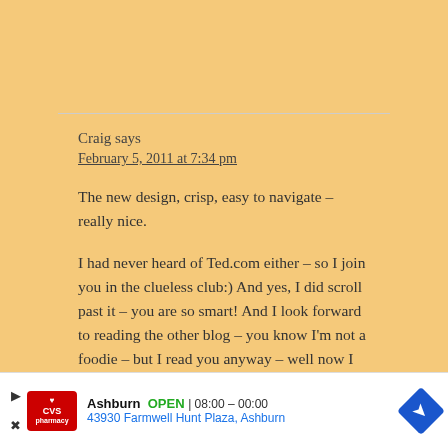Craig says
February 5, 2011 at 7:34 pm
The new design, crisp, easy to navigate – really nice.
I had never heard of Ted.com either – so I join you in the clueless club:) And yes, I did scroll past it – you are so smart! And I look forward to reading the other blog – you know I'm not a foodie – but I read you anyway – well now I get to comment way more.
Take it from a guy with two blogs though
[Figure (infographic): CVS Pharmacy advertisement bar showing store location: Ashburn, OPEN 08:00-00:00, 43930 Farmwell Hunt Plaza, Ashburn]